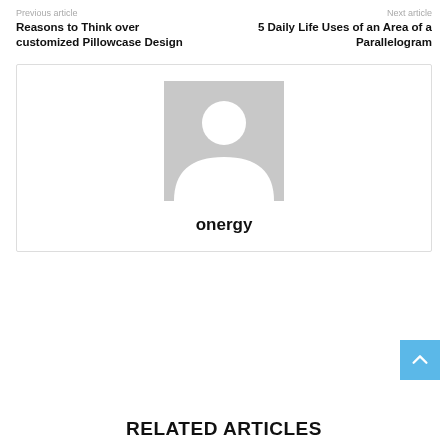Previous article
Next article
Reasons to Think over customized Pillowcase Design
5 Daily Life Uses of an Area of a Parallelogram
[Figure (illustration): Default user avatar placeholder showing a grey silhouette of a person on a grey background]
onergy
RELATED ARTICLES